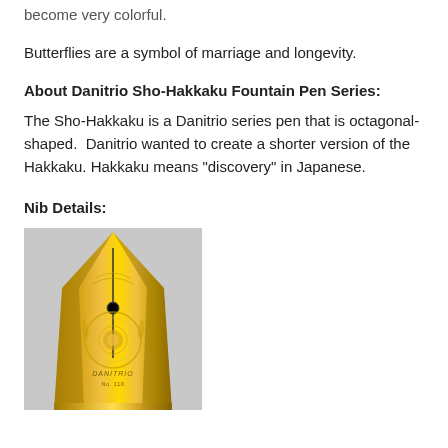become very colorful.
Butterflies are a symbol of marriage and longevity.
About Danitrio Sho-Hakkaku Fountain Pen Series:
The Sho-Hakkaku is a Danitrio series pen that is octagonal-shaped.  Danitrio wanted to create a shorter version of the Hakkaku. Hakkaku means "discovery" in Japanese.
Nib Details:
[Figure (photo): A gold fountain pen nib with decorative engraving and the Danitrio brand name, shown against a gray background.]